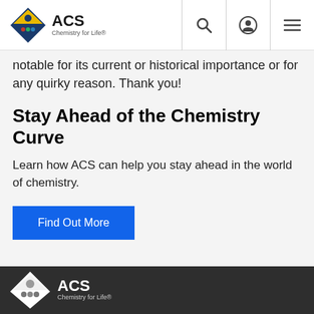ACS Chemistry for Life
notable for its current or historical importance or for any quirky reason. Thank you!
Stay Ahead of the Chemistry Curve
Learn how ACS can help you stay ahead in the world of chemistry.
Find Out More
ACS Chemistry for Life